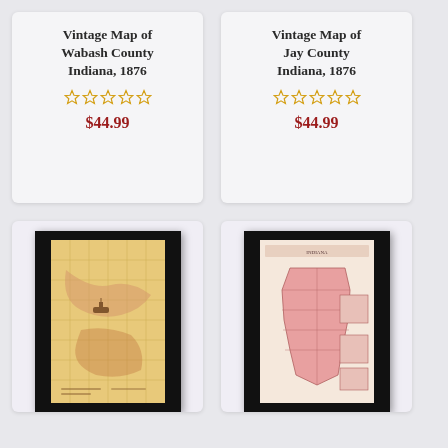Vintage Map of Wabash County Indiana, 1876
☆☆☆☆☆
$44.99
Vintage Map of Jay County Indiana, 1876
☆☆☆☆☆
$44.99
[Figure (map): Vintage framed map of Wabash County Indiana 1876, yellowed antique style map with grid lines and topographic features in a black frame]
[Figure (map): Vintage framed map of Jay County Indiana 1876, pinkish antique style state map with county subdivisions in a black frame]